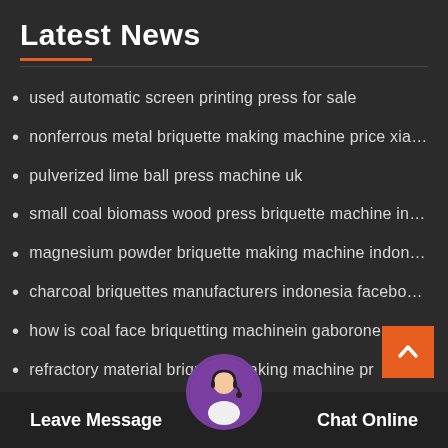Latest News
used automatic screen printing press for sale
nonferrous metal briquette making machine price xia…
pulverized lime ball press machine uk
small coal biomass wood press briquette machine in…
magnesium powder briquette making machine indon…
charcoal briquettes manufacturers indonesia facebo…
how is coal face briquetting machinein gaborone
refractory material briquette making machine pr
fujairah strong pressu tte machine
Iron powder briquetting press machine in south afric…
Leave Message   Chat Online